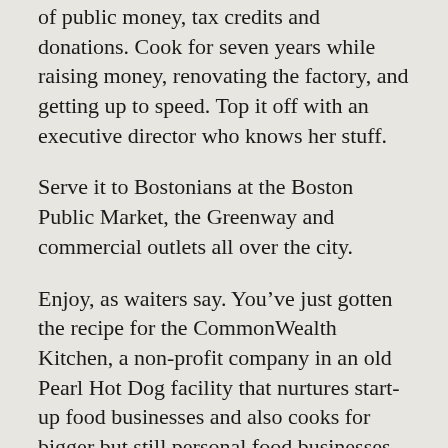of public money, tax credits and donations. Cook for seven years while raising money, renovating the factory, and getting up to speed. Top it off with an executive director who knows her stuff.
Serve it to Bostonians at the Boston Public Market, the Greenway and commercial outlets all over the city.
Enjoy, as waiters say. You've just gotten the recipe for the CommonWealth Kitchen, a non-profit company in an old Pearl Hot Dog facility that nurtures start-up food businesses and also cooks for bigger but still personal food businesses that are so successful they can't do it by themselves.
My friend Sally and I drove out to Dorchester, where the facility is, to see what was happening. I'd heard about this place from people at the Boston Public Market, since CWK, as is it known, prepares pasta for